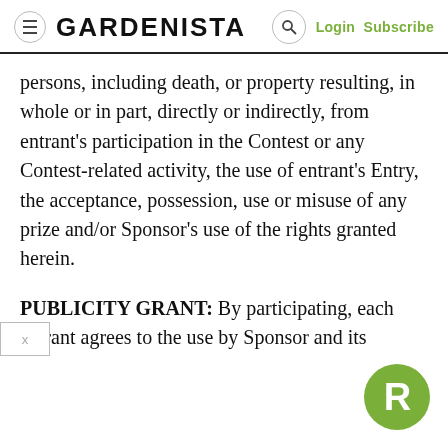GARDENISTA  Login Subscribe
persons, including death, or property resulting, in whole or in part, directly or indirectly, from entrant's participation in the Contest or any Contest-related activity, the use of entrant's Entry, the acceptance, possession, use or misuse of any prize and/or Sponsor's use of the rights granted herein.
PUBLICITY GRANT: By participating, each entrant agrees to the use by Sponsor and its
[Figure (logo): Green circular badge with white letter R]